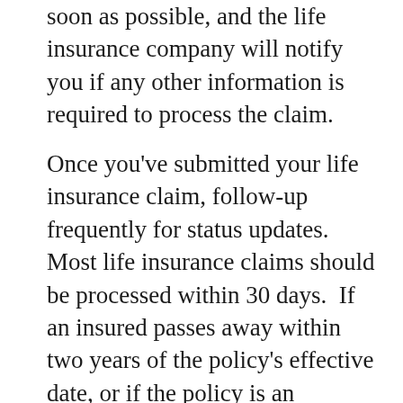soon as possible, and the life insurance company will notify you if any other information is required to process the claim.
Once you've submitted your life insurance claim, follow-up frequently for status updates.  Most life insurance claims should be processed within 30 days.  If an insured passes away within two years of the policy's effective date, or if the policy is an accidental death policy, the life insurance company may request additional time to investigate the claim.  Even then, your claim should be paid within 60 days.  Life insurance companies benefit from delaying payments, so remember that the squeaky wheel gets the oil.  Keep calling, and make sure